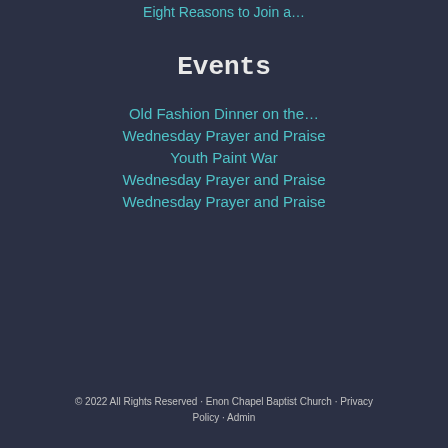Eight Reasons to Join a…
Events
Old Fashion Dinner on the…
Wednesday Prayer and Praise
Youth Paint War
Wednesday Prayer and Praise
Wednesday Prayer and Praise
© 2022 All Rights Reserved · Enon Chapel Baptist Church · Privacy Policy · Admin